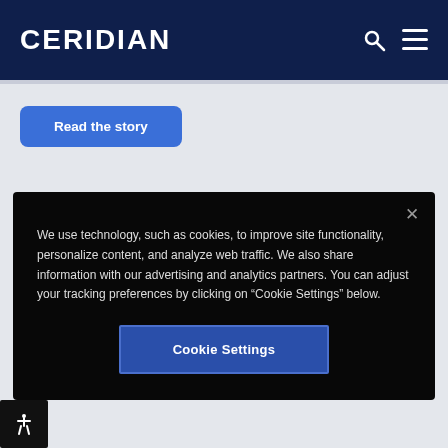CERIDIAN
Read the story
We use technology, such as cookies, to improve site functionality, personalize content, and analyze web traffic. We also share information with our advertising and analytics partners. You can adjust your tracking preferences by clicking on “Cookie Settings” below.
Cookie Settings